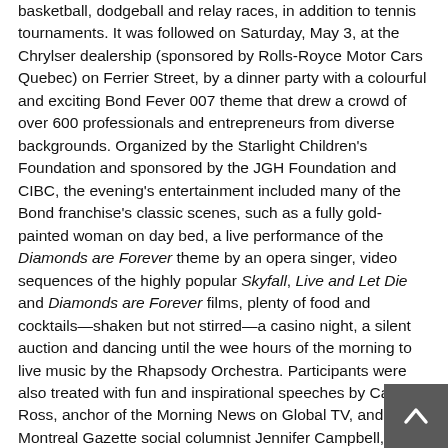basketball, dodgeball and relay races, in addition to tennis tournaments. It was followed on Saturday, May 3, at the Chrylser dealership (sponsored by Rolls-Royce Motor Cars Quebec) on Ferrier Street, by a dinner party with a colourful and exciting Bond Fever 007 theme that drew a crowd of over 600 professionals and entrepreneurs from diverse backgrounds. Organized by the Starlight Children's Foundation and sponsored by the JGH Foundation and CIBC, the evening's entertainment included many of the Bond franchise's classic scenes, such as a fully gold-painted woman on day bed, a live performance of the Diamonds are Forever theme by an opera singer, video sequences of the highly popular Skyfall, Live and Let Die and Diamonds are Forever films, plenty of food and cocktails—shaken but not stirred—a casino night, a silent auction and dancing until the wee hours of the morning to live music by the Rhapsody Orchestra. Participants were also treated with fun and inspirational speeches by Camille Ross, anchor of the Morning News on Global TV, and Montreal Gazette social columnist Jennifer Campbell, as well as Co-Chairs Demo Trifonopoulos and Gary Wechsler.
Proceeds from the two-day event will support the JGH